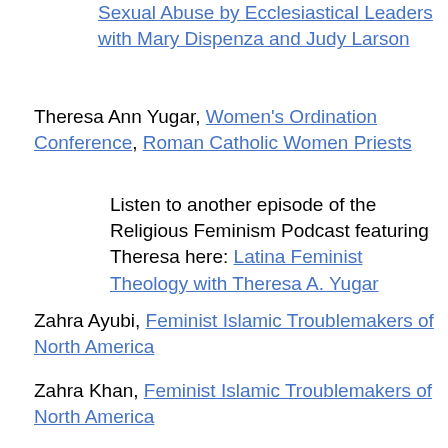Sexual Abuse by Ecclesiastical Leaders with Mary Dispenza and Judy Larson
Theresa Ann Yugar, Women's Ordination Conference, Roman Catholic Women Priests
Listen to another episode of the Religious Feminism Podcast featuring Theresa here: Latina Feminist Theology with Theresa A. Yugar
Zahra Ayubi, Feminist Islamic Troublemakers of North America
Zahra Khan, Feminist Islamic Troublemakers of North America
Listen to another episode of the Religious Feminism Podcast featuring Zahra here: Feminist Islamic Troublemakers of North America with